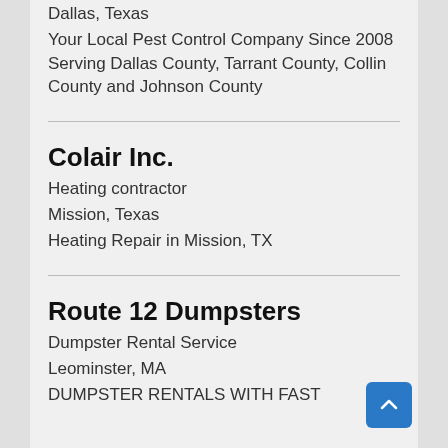Dallas, Texas
Your Local Pest Control Company Since 2008 Serving Dallas County, Tarrant County, Collin County and Johnson County
Colair Inc.
Heating contractor
Mission, Texas
Heating Repair in Mission, TX
Route 12 Dumpsters
Dumpster Rental Service
Leominster, MA
DUMPSTER RENTALS WITH FAST